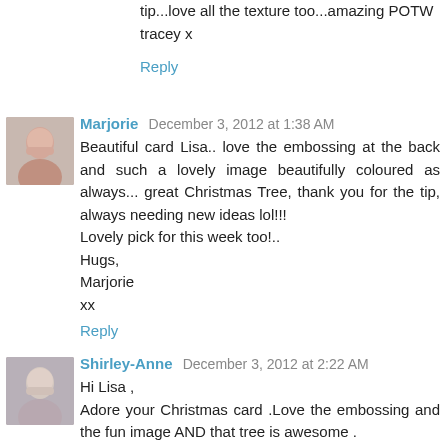tip...love all the texture too...amazing POTW
tracey x
Reply
Marjorie  December 3, 2012 at 1:38 AM
Beautiful card Lisa.. love the embossing at the back and such a lovely image beautifully coloured as always... great Christmas Tree, thank you for the tip, always needing new ideas lol!!!
Lovely pick for this week too!..
Hugs,
Marjorie
xx
Reply
Shirley-Anne  December 3, 2012 at 2:22 AM
Hi Lisa ,
Adore your Christmas card .Love the embossing and the fun image AND that tree is awesome .